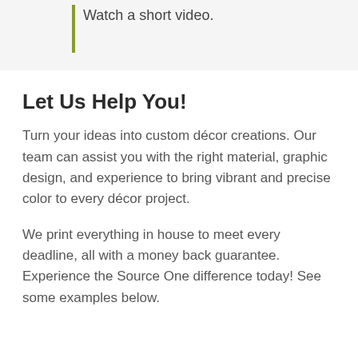Watch a short video.
Let Us Help You!
Turn your ideas into custom décor creations. Our team can assist you with the right material, graphic design, and experience to bring vibrant and precise color to every décor project.
We print everything in house to meet every deadline, all with a money back guarantee. Experience the Source One difference today! See some examples below.